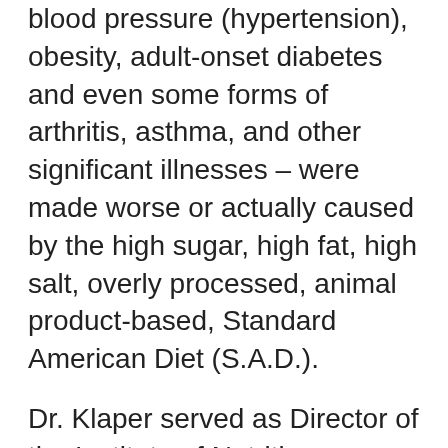blood pressure (hypertension), obesity, adult-onset diabetes and even some forms of arthritis, asthma, and other significant illnesses – were made worse or actually caused by the high sugar, high fat, high salt, overly processed, animal product-based, Standard American Diet (S.A.D.).
Dr. Klaper served as Director of the Institute of Nutrition Education and Research from 1992 through 2015, where he conducted a study that focused on people who ate a completely plant-based or vegan diet.
Dr. Klaper practiced acute care medicine in New Zealand for three years and from